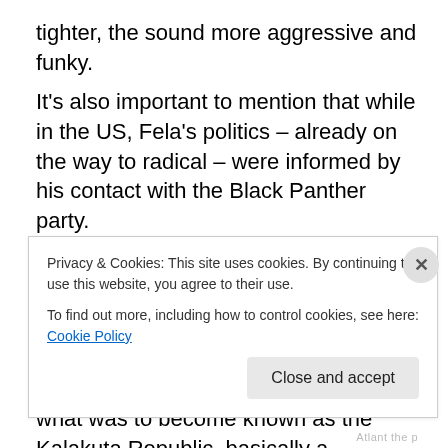tighter, the sound more aggressive and funky. It's also important to mention that while in the US, Fela's politics – already on the way to radical – were informed by his contact with the Black Panther party. Fela and band (soon to be rechristened as Africa 70), who were in the US without work permits were forced to return to Nigeria. Upon his return to Nigeria, Fela formed what was to become known as the Kalakuta Republic, basically a compound/commune in Lagos which included housing for Fela and his entire entourage (band, family and 20+
Privacy & Cookies: This site uses cookies. By continuing to use this website, you agree to their use.
To find out more, including how to control cookies, see here: Cookie Policy